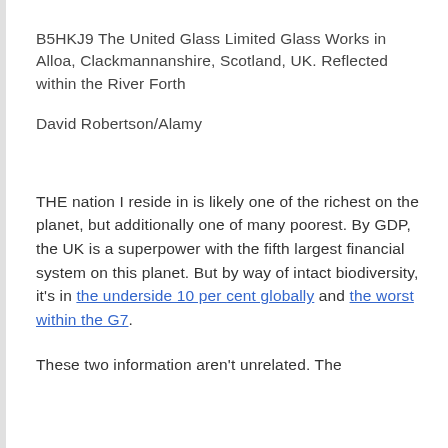B5HKJ9 The United Glass Limited Glass Works in Alloa, Clackmannanshire, Scotland, UK. Reflected within the River Forth
David Robertson/Alamy
THE nation I reside in is likely one of the richest on the planet, but additionally one of many poorest. By GDP, the UK is a superpower with the fifth largest financial system on this planet. But by way of intact biodiversity, it’s in the underside 10 per cent globally and the worst within the G7.
These two information aren’t unrelated. The